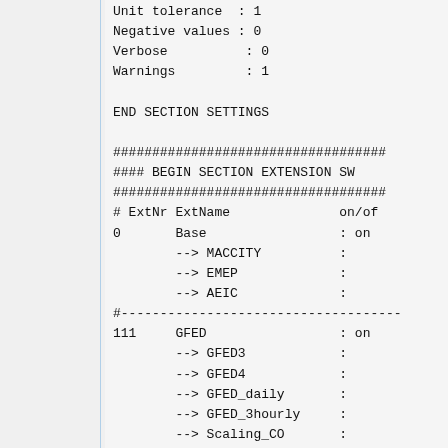Unit tolerance : 1
Negative values : 0
Verbose          : 0
Warnings         : 1
END SECTION SETTINGS
###################################
#### BEGIN SECTION EXTENSION SW
###################################
# ExtNr ExtName              on/of
0       Base                 : on
        --> MACCITY          :
        --> EMEP             :
        --> AEIC             :
#------------------------------------
111     GFED                 : on
        --> GFED3            :
        --> GFED4            :
        --> GFED_daily       :
        --> GFED_3hourly     :
        --> Scaling_CO       :
END SECTION EXTENSION SWITCHES